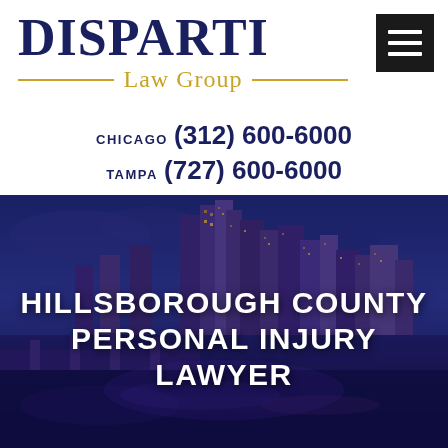[Figure (logo): Disparti Law Group logo with dark navy DISPARTI text and gold 'Law Group' text with decorative horizontal lines on either side]
[Figure (other): Hamburger menu icon — black square with three white horizontal bars]
CHICAGO (312) 600-6000
TAMPA (727) 600-6000
[Figure (photo): Night cityscape of Tampa, Florida with illuminated skyscrapers reflected in a river, blue and purple tones, bridge visible in foreground]
HILLSBOROUGH COUNTY PERSONAL INJURY LAWYER